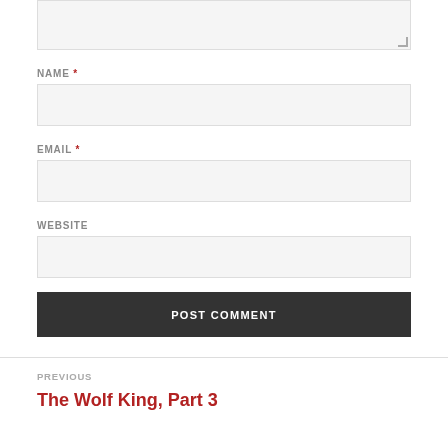[Figure (other): Textarea input box (partially visible at top)]
NAME *
[Figure (other): Name text input field]
EMAIL *
[Figure (other): Email text input field]
WEBSITE
[Figure (other): Website text input field]
[Figure (other): POST COMMENT button]
PREVIOUS
The Wolf King, Part 3